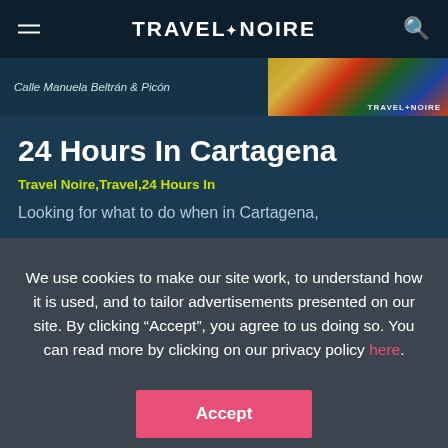TRAVEL+NOIRE
[Figure (photo): Street photo strip showing Calle Manuela Beltrán & Picón with colorful flags/banners on the right side, Travel Noire watermark]
24 Hours In Cartagena
Travel Noire,Travel,24 Hours In
Looking for what to do when in Cartagena,
We use cookies to make our site work, to understand how it is used, and to tailor advertisements presented on our site. By clicking "Accept", you agree to us doing so. You can read more by clicking on our privacy policy here.
Accept